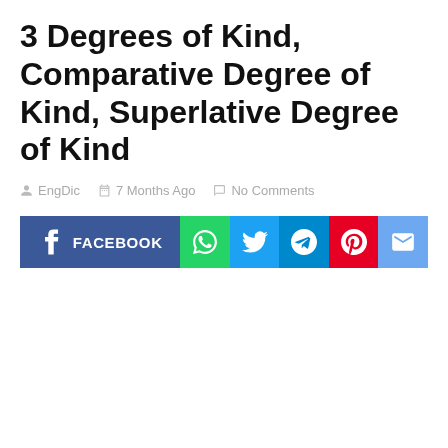3 Degrees of Kind, Comparative Degree of Kind, Superlative Degree of Kind
EngDic   7 Months Ago   No Comments
[Figure (infographic): Social media share buttons: Facebook, WhatsApp, Twitter, Telegram, Pinterest, Email]